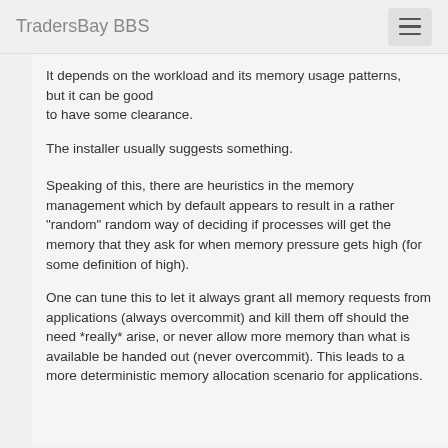TradersBay BBS
It depends on the workload and its memory usage patterns, but it can be good to have some clearance.
The installer usually suggests something.
Speaking of this, there are heuristics in the memory management which by default appears to result in a rather "random" random way of deciding if processes will get the memory that they ask for when memory pressure gets high (for some definition of high).
One can tune this to let it always grant all memory requests from applications (always overcommit) and kill them off should the need *really* arise, or never allow more memory than what is available be handed out (never overcommit). This leads to a more deterministic memory allocation scenario for applications.